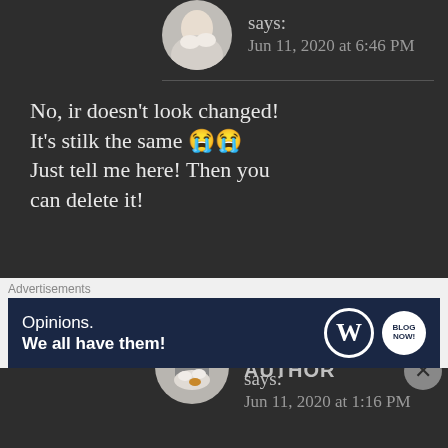[Figure (photo): Circular avatar photo of a person holding a white cat, partially cropped at top]
says:
Jun 11, 2020 at 6:46 PM
No, ir doesn't look changed! It's stilk the same 😭😭 Just tell me here! Then you can delete it!
★ Liked by 1 person
[Figure (photo): Circular avatar photo of a person holding a white/orange cat]
H.R PHOENIX, AUTHOR
says:
Jun 11, 2020 at 1:16 PM
Advertisements
Opinions. We all have them!